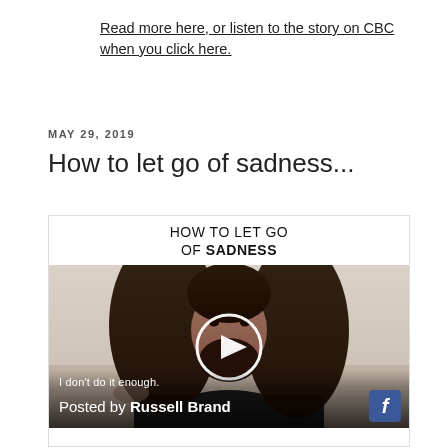Read more here, or listen to the story on CBC when you click here.
MAY 29, 2019
How to let go of sadness...
[Figure (screenshot): Facebook video thumbnail showing a man with long curly hair and a beard wearing a black top, sitting against a light background. The video title reads 'HOW TO LET GO OF SADNESS' with a play button overlay. A subtitle reads 'I don't do it enough.' and the footer shows 'Posted by Russell Brand' with a Facebook icon.]